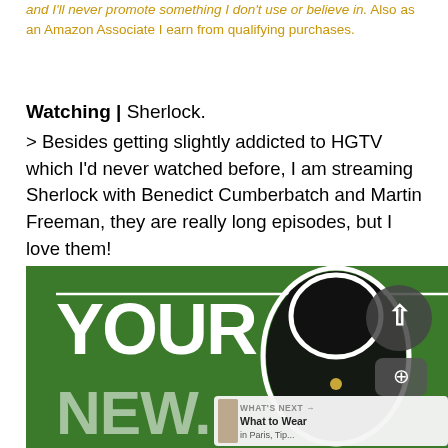and I'll never promote something I don't use or believe in. Also as an Amazon Associate I earn from qualifying purchases.
Watching | Sherlock.
> Besides getting slightly addicted to HGTV which I'd never watched before, I am streaming Sherlock with Benedict Cumberbatch and Martin Freeman, they are really long episodes, but I love them!
[Figure (illustration): Green promotional banner image with large white bold text reading 'YOUR' and partially visible 'NEW.' below, with a black dog (pit bull type) photo overlaid on the right side, and UI overlay elements including an up-arrow circle button, a share button, and a 'WHAT'S NEXT' card showing 'What to Wear in Paris, Tip...' with a small image.]